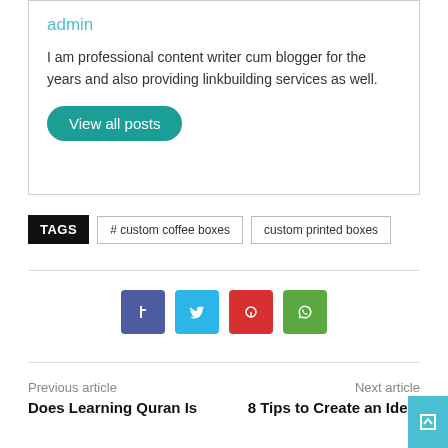admin
I am professional content writer cum blogger for the years and also providing linkbuilding services as well.
View all posts
TAGS  # custom coffee boxes  custom printed boxes
[Figure (infographic): Four social media share buttons: purple Facebook, light blue Twitter, red Pinterest, green WhatsApp]
Previous article
Does Learning Quran Is
Next article
8 Tips to Create an Ideal